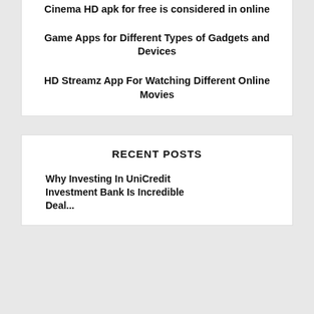Cinema HD apk for free is considered in online
Game Apps for Different Types of Gadgets and Devices
HD Streamz App For Watching Different Online Movies
RECENT POSTS
Why Investing In UniCredit Investment Bank Is Incredible Deal...